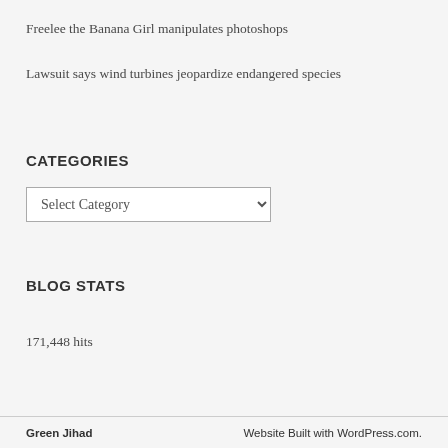Freelee the Banana Girl manipulates photoshops
Lawsuit says wind turbines jeopardize endangered species
CATEGORIES
Select Category
BLOG STATS
171,448 hits
Green Jihad   Website Built with WordPress.com.